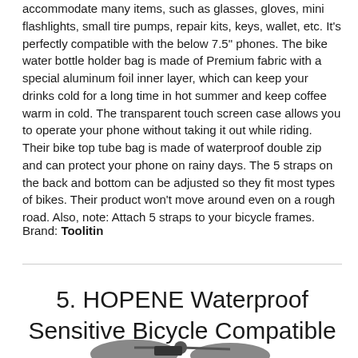accommodate many items, such as glasses, gloves, mini flashlights, small tire pumps, repair kits, keys, wallet, etc. It's perfectly compatible with the below 7.5" phones. The bike water bottle holder bag is made of Premium fabric with a special aluminum foil inner layer, which can keep your drinks cold for a long time in hot summer and keep coffee warm in cold. The transparent touch screen case allows you to operate your phone without taking it out while riding. Their bike top tube bag is made of waterproof double zip and can protect your phone on rainy days. The 5 straps on the back and bottom can be adjusted so they fit most types of bikes. Their product won't move around even on a rough road. Also, note: Attach 5 straps to your bicycle frames.
Brand: Toolitin
5. HOPENE Waterproof Sensitive Bicycle Compatible
[Figure (photo): Partial image of a bicycle bag product, showing bottom portion of product photo]